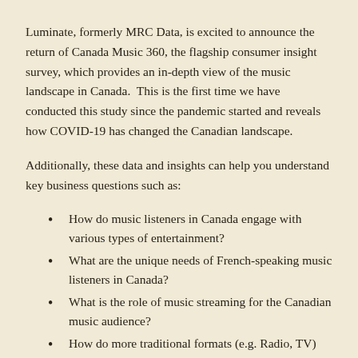Luminate, formerly MRC Data, is excited to announce the return of Canada Music 360, the flagship consumer insight survey, which provides an in-depth view of the music landscape in Canada. This is the first time we have conducted this study since the pandemic started and reveals how COVID-19 has changed the Canadian landscape.
Additionally, these data and insights can help you understand key business questions such as:
How do music listeners in Canada engage with various types of entertainment?
What are the unique needs of French-speaking music listeners in Canada?
What is the role of music streaming for the Canadian music audience?
How do more traditional formats (e.g. Radio, TV) impact the music-listening experience in Canada?
How do Canadian listeners engage with music on social